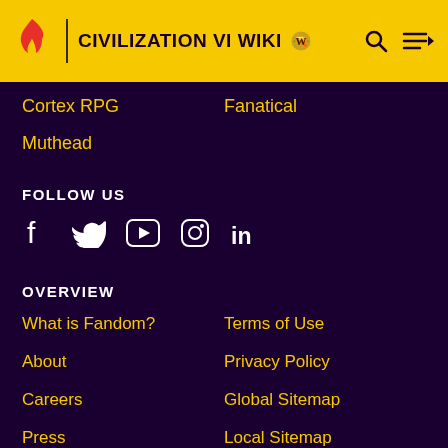CIVILIZATION VI WIKI
Cortex RPG
Fanatical
Muthead
FOLLOW US
[Figure (infographic): Social media icons: Facebook, Twitter, YouTube, Instagram, LinkedIn]
OVERVIEW
What is Fandom?
Terms of Use
About
Privacy Policy
Careers
Global Sitemap
Press
Local Sitemap